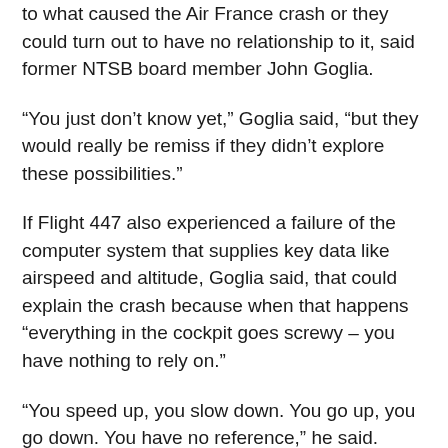to what caused the Air France crash or they could turn out to have no relationship to it, said former NTSB board member John Goglia.
“You just don’t know yet,” Goglia said, “but they would really be remiss if they didn’t explore these possibilities.”
If Flight 447 also experienced a failure of the computer system that supplies key data like airspeed and altitude, Goglia said, that could explain the crash because when that happens “everything in the cockpit goes screwy – you have nothing to rely on.”
“You speed up, you slow down. You go up, you go down. You have no reference,” he said.